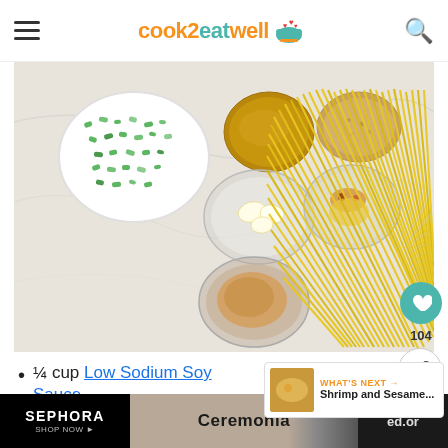cook2eatwell
[Figure (photo): Overhead flat-lay photo of pasta ingredients: green onions in white bowl, amber liquid in bowl, brown sugar in bowl, garlic in glass bowl, spices in glass bowl, spaghetti noodles, and peanut butter in glass bowl on marble surface]
¼ cup Low Sodium Soy Sauce
1 tablespoon Brown Sugar
[Figure (screenshot): What's Next card: Shrimp and Sesame...]
[Figure (photo): Sephora and Ceremonia advertisement banner]